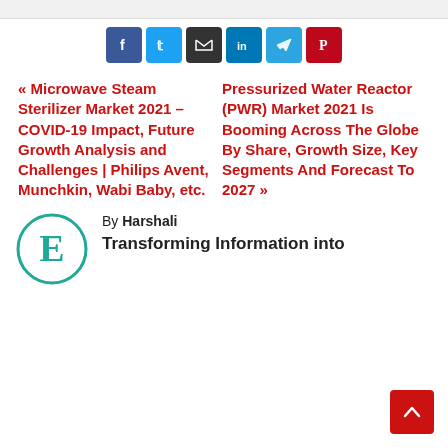[Figure (infographic): Social share buttons row: Facebook (blue), Twitter (light blue), Email (dark), LinkedIn (blue), Telegram (blue), Pinterest (red)]
« Microwave Steam Sterilizer Market 2021 – COVID-19 Impact, Future Growth Analysis and Challenges | Philips Avent, Munchkin, Wabi Baby, etc.
Pressurized Water Reactor (PWR) Market 2021 Is Booming Across The Globe By Share, Growth Size, Key Segments And Forecast To 2027 »
By Harshali
Transforming Information into